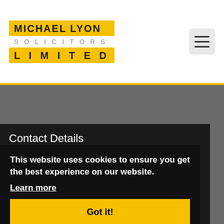[Figure (logo): Michael Lyon Solicitors Limited logo with yellow background blocks and gray SOLICITORS text]
Contact Details
MICHAEL LYON SOLICITORS LTD
Glasgow Office: 769 High Street, Glasgow, Scotland, G1 | TEL: 0141 550 1074 | EMAIL: ml@theroadtrafficlawyer.com
This website uses cookies to ensure you get the best experience on our website.
Learn more
Got it!
Dumfries Office: 43 Buccleuch Street, Dumfries, Scotland, DG1 2AB, GB | TEL: 01387 252 777 | EMAIL: rs@theroadtrafficlawyer.com